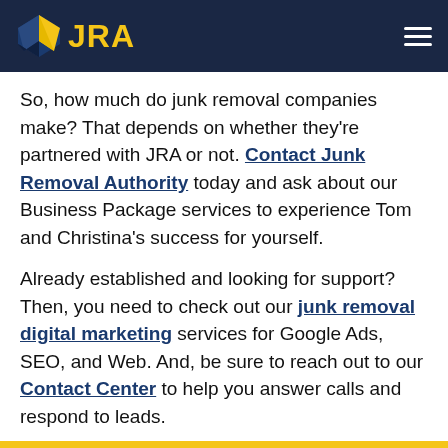JRA
So, how much do junk removal companies make? That depends on whether they're partnered with JRA or not. Contact Junk Removal Authority today and ask about our Business Package services to experience Tom and Christina's success for yourself.
Already established and looking for support? Then, you need to check out our junk removal digital marketing services for Google Ads, SEO, and Web. And, be sure to reach out to our Contact Center to help you answer calls and respond to leads.
Related Articles